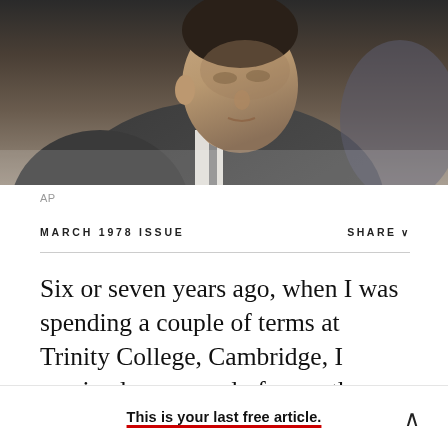[Figure (photo): Black and white/muted photo of a man in a suit, shot from below, looking downward, close-up of face and upper body]
AP
MARCH 1978 ISSUE
SHARE
Six or seven years ago, when I was spending a couple of terms at Trinity College, Cambridge, I received a proposal of more than usual interest from the University of California. It was that I resign from Harvard and accept a chair in English.
This is your last free article.